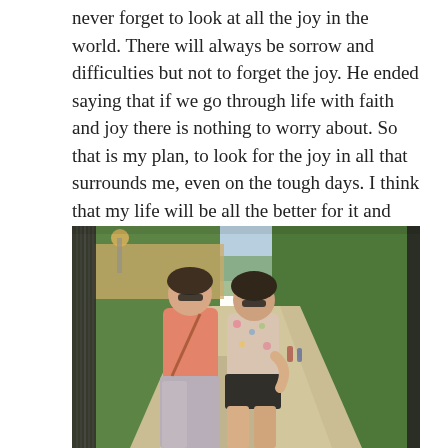never forget to look at all the joy in the world. There will always be sorrow and difficulties but not to forget the joy. He ended saying that if we go through life with faith and joy there is nothing to worry about. So that is my plan, to look for the joy in all that surrounds me, even on the tough days. I think that my life will be all the better for it and maybe I can bring joy to those around me.
[Figure (photo): Two young women posing together on a sunny tree-lined path, one wearing a pink top and patterned pants, the other wearing a floral top and black shorts. There is a black iron fence on the left, lush green trees and hedges on both sides, and a stone wall visible behind the fence. The path recedes into the distance.]